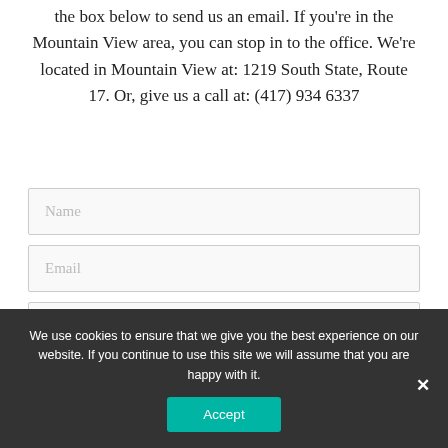the box below to send us an email. If you're in the Mountain View area, you can stop in to the office. We're located in Mountain View at: 1219 South State, Route 17. Or, give us a call at: (417) 934 6337
Name
Email
Message
We use cookies to ensure that we give you the best experience on our website. If you continue to use this site we will assume that you are happy with it.
Accept